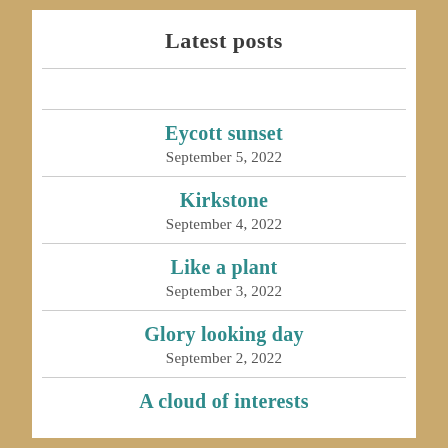Latest posts
Eycott sunset
September 5, 2022
Kirkstone
September 4, 2022
Like a plant
September 3, 2022
Glory looking day
September 2, 2022
A cloud of interests